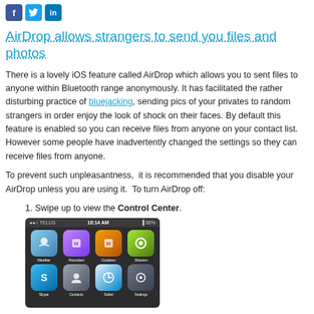[Figure (logo): Social media share icons: Facebook (blue f), Twitter (blue bird), LinkedIn (blue in)]
AirDrop allows strangers to send you files and photos
There is a lovely iOS feature called AirDrop which allows you to sent files to anyone within Bluetooth range anonymously. It has facilitated the rather disturbing practice of bluejacking, sending pics of your privates to random strangers in order enjoy the look of shock on their faces. By default this feature is enabled so you can receive files from anyone on your contact list. However some people have inadvertently changed the settings so they can receive files from anyone.
To prevent such unpleasantness,  it is recommended that you disable your AirDrop unless you are using it.  To turn AirDrop off:
Swipe up to view the Control Center.
[Figure (screenshot): iOS Control Center screenshot showing app icons including Weather, Recorded, Goddess, Shazam (top row) and Skype, Contacts, Safari, Settings (bottom row) with TELUS carrier and 10:14 AM time displayed.]